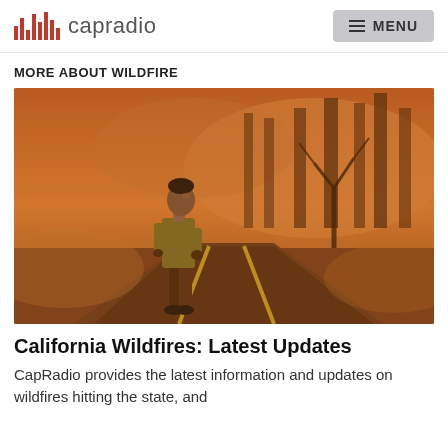capradio  MENU
MORE ABOUT WILDFIRE
[Figure (photo): A person standing on a road surrounded by smoke-filled orange haze, with burnt trees visible in the background. The scene depicts a wildfire-affected landscape.]
California Wildfires: Latest Updates
CapRadio provides the latest information and updates on wildfires hitting the state, and